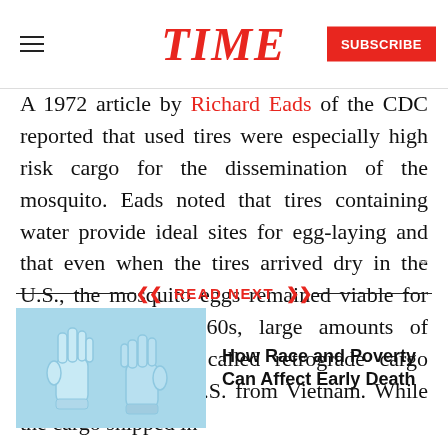TIME
A 1972 article by Richard Eads of the CDC reported that used tires were especially high risk cargo for the dissemination of the mosquito. Eads noted that tires containing water provide ideal sites for egg-laying and that even when the tires arrived dry in the U.S., the mosquito eggs remained viable for months. In the 1960s, large amounts of military shipments called retrograde cargo were entering the U.S. from Vietnam. While the cargo shipped in
READ NEXT
How Race and Poverty Can Affect Early Death